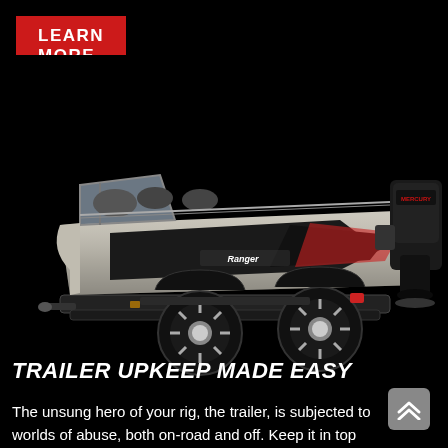[Figure (other): Red button with white bold uppercase text LEARN MORE on black background]
[Figure (photo): A Ranger bass boat on a trailer with a Mercury outboard motor, photographed against a black background. The boat is silver/gray with black graphic accents. The trailer has chrome alloy wheels.]
TRAILER UPKEEP MADE EASY
The unsung hero of your rig, the trailer, is subjected to worlds of abuse, both on-road and off. Keep it in top